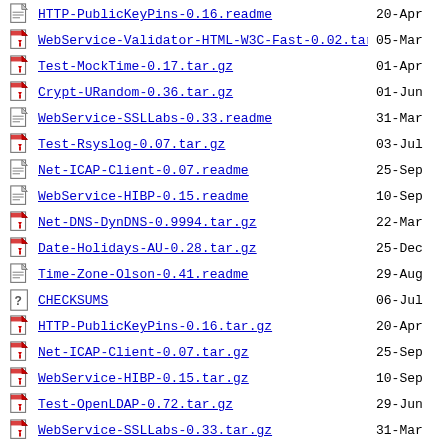HTTP-PublicKeyPins-0.16.readme  20-Apr
WebService-Validator-HTML-W3C-Fast-0.02.tar.gz  05-Mar
Test-MockTime-0.17.tar.gz  01-Apr
Crypt-URandom-0.36.tar.gz  01-Jun
WebService-SSLLabs-0.33.readme  31-Mar
Test-Rsyslog-0.07.tar.gz  03-Jul
Net-ICAP-Client-0.07.readme  25-Sep
WebService-HIBP-0.15.readme  10-Sep
Net-DNS-DynDNS-0.9994.tar.gz  22-Mar
Date-Holidays-AU-0.28.tar.gz  25-Dec
Time-Zone-Olson-0.41.readme  29-Aug
CHECKSUMS  06-Jul
HTTP-PublicKeyPins-0.16.tar.gz  20-Apr
Net-ICAP-Client-0.07.tar.gz  25-Sep
WebService-HIBP-0.15.tar.gz  10-Sep
Test-OpenLDAP-0.72.tar.gz  29-Jun
WebService-SSLLabs-0.33.tar.gz  31-Mar